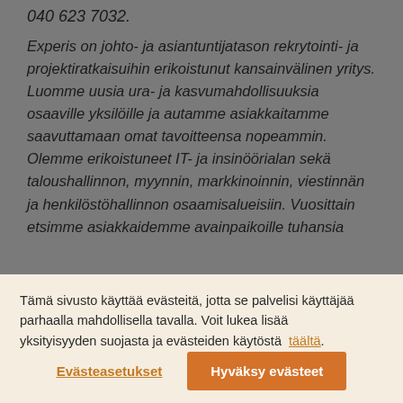040 623 7032.
Experis on johto- ja asiantuntijatason rekrytointi- ja projektiratkaisuihin erikoistunut kansainvälinen yritys. Luomme uusia ura- ja kasvumahdollisuuksia osaaville yksilöille ja autamme asiakkaitamme saavuttamaan omat tavoitteensa nopeammin. Olemme erikoistuneet IT- ja insinöörialan sekä taloushallinnon, myynnin, markkinoinnin, viestinnän ja henkilöstöhallinnon osaamisalueisiin. Vuosittain etsimme asiakkaidemme avainpaikoille tuhansia
Tämä sivusto käyttää evästeitä, jotta se palvelisi käyttäjää parhaalla mahdollisella tavalla. Voit lukea lisää yksityisyyden suojasta ja evästeiden käytöstä täältä.
Evästeasetukset
Hyväksy evästeet